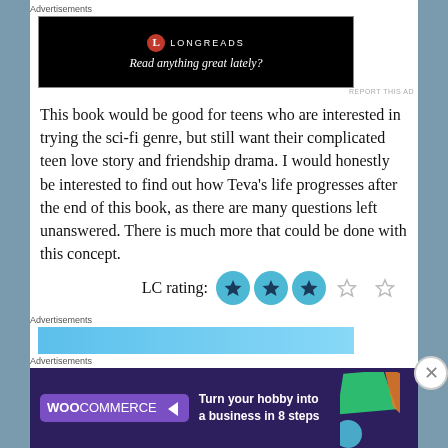Advertisements
[Figure (screenshot): Longreads advertisement banner on black background with text 'Read anything great lately?']
This book would be good for teens who are interested in trying the sci-fi genre, but still want their complicated teen love story and friendship drama. I would honestly be interested to find out how Teva's life progresses after the end of this book, as there are many questions left unanswered. There is much more that could be done with this concept.
LC rating: ★★★☆☆
Advertisements
[Figure (screenshot): WooCommerce advertisement: 'Turn your hobby into a business in 8 steps' on dark purple background]
Advertisements
[Figure (screenshot): WooCommerce advertisement banner at bottom]